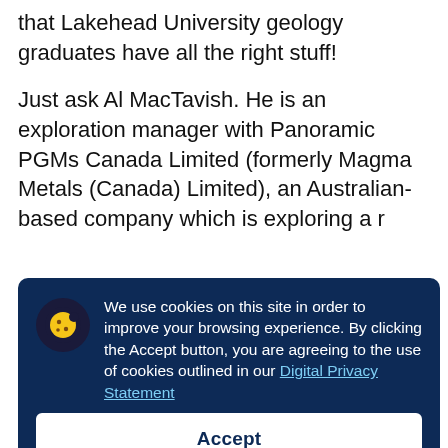that Lakehead University geology graduates have all the right stuff!
Just ask Al MacTavish. He is an exploration manager with Panoramic PGMs Canada Limited (formerly Magma Metals (Canada) Limited), an Australian-based company which is exploring a r...
[Figure (screenshot): Cookie consent modal overlay with dark navy background. Contains a cookie icon, text reading 'We use cookies on this site in order to improve your browsing experience. By clicking the Accept button, you are agreeing to the use of cookies outlined in our Digital Privacy Statement', and an Accept button.]
property and many more millions will be invested